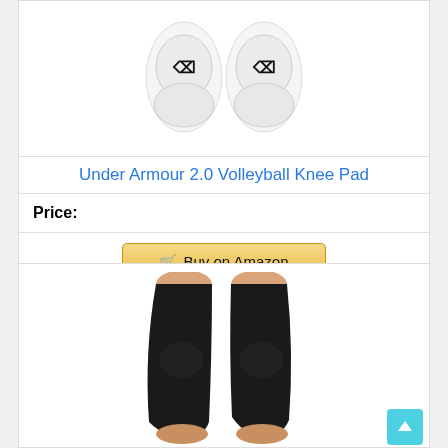[Figure (photo): White Under Armour volleyball knee pads (pair), showing the Under Armour logo]
Under Armour 2.0 Volleyball Knee Pad
Price:
[Figure (other): Buy on Amazon button with shopping cart icon]
[Figure (photo): Black knee pads/sleeves (pair) worn on legs, shown from thigh to shin]